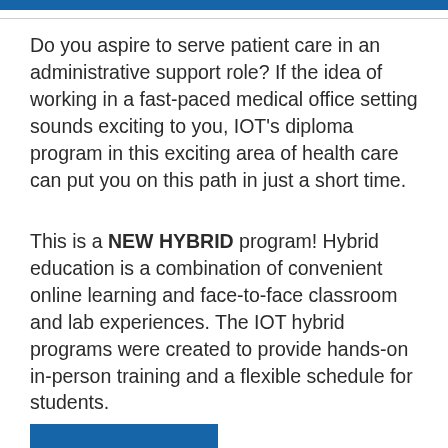Do you aspire to serve patient care in an administrative support role? If the idea of working in a fast-paced medical office setting sounds exciting to you, IOT's diploma program in this exciting area of health care can put you on this path in just a short time.
This is a NEW HYBRID program! Hybrid education is a combination of convenient online learning and face-to-face classroom and lab experiences. The IOT hybrid programs were created to provide hands-on in-person training and a flexible schedule for students.